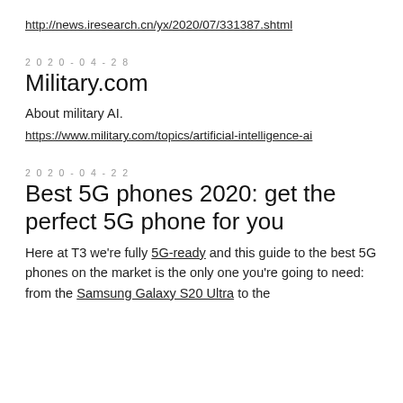http://news.iresearch.cn/yx/2020/07/331387.shtml
2020-04-28
Military.com
About military AI.
https://www.military.com/topics/artificial-intelligence-ai
2020-04-22
Best 5G phones 2020: get the perfect 5G phone for you
Here at T3 we're fully 5G-ready and this guide to the best 5G phones on the market is the only one you're going to need: from the Samsung Galaxy S20 Ultra to the